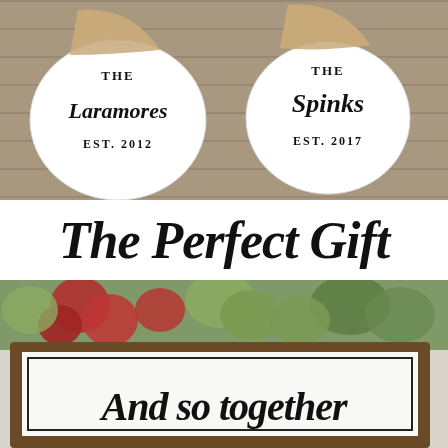[Figure (photo): Two white circular farmhouse-style wooden signs on a grey wood background. Left sign reads 'The Laramores EST. 2012' and right sign reads 'The Spinks EST. 2017', both with black script lettering and wooden top accents.]
The Perfect Gift
[Figure (photo): A rustic wooden framed sign with white background and black script lettering reading 'And so together', decorated with red and green flowers/floral arrangement on top.]